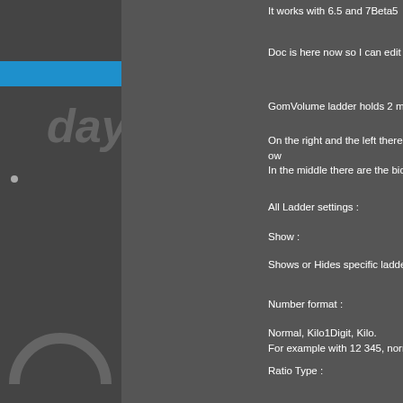It works with 6.5 and 7Beta5
Doc is here now so I can edit it.
GomVolume ladder holds 2 main types of info :
On the right and the left there are 2 ladders with their own
In the middle there are the bid/ask ladders that are plott
All Ladder settings :
Show :
Shows or Hides specific ladder.
Number format :
Normal, Kilo1Digit, Kilo.
For example with 12 345, normal is 12 345, Kilo is 12 ,
Ratio Type :
Determines how to calculate bar size (for volume) or c
used, the Maximum value of the ladder will be consider.
If you want to be able to compare volume bar sizes,
Fixed Number. In that case the Fixed Number represen